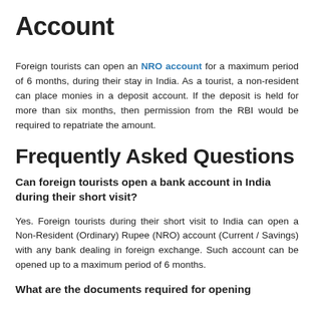Account
Foreign tourists can open an NRO account for a maximum period of 6 months, during their stay in India. As a tourist, a non-resident can place monies in a deposit account. If the deposit is held for more than six months, then permission from the RBI would be required to repatriate the amount.
Frequently Asked Questions
Can foreign tourists open a bank account in India during their short visit?
Yes. Foreign tourists during their short visit to India can open a Non-Resident (Ordinary) Rupee (NRO) account (Current / Savings) with any bank dealing in foreign exchange. Such account can be opened up to a maximum period of 6 months.
What are the documents required for opening